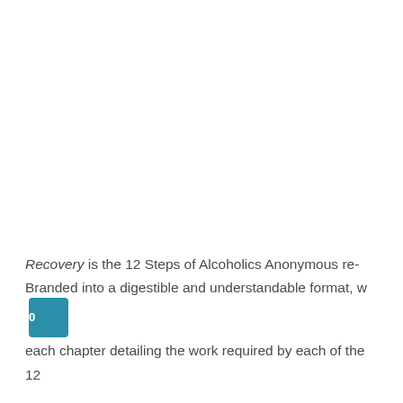Recovery is the 12 Steps of Alcoholics Anonymous re-Branded into a digestible and understandable format, w each chapter detailing the work required by each of the 12